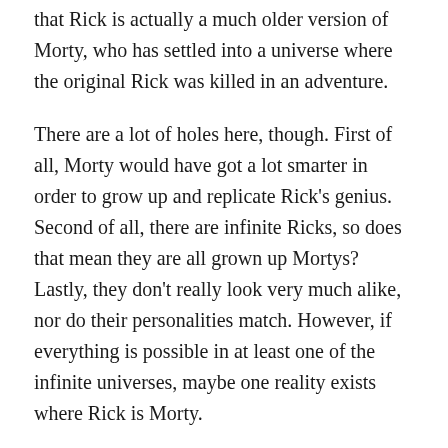that Rick is actually a much older version of Morty, who has settled into a universe where the original Rick was killed in an adventure.
There are a lot of holes here, though. First of all, Morty would have got a lot smarter in order to grow up and replicate Rick’s genius. Second of all, there are infinite Ricks, so does that mean they are all grown up Mortys? Lastly, they don’t really look very much alike, nor do their personalities match. However, if everything is possible in at least one of the infinite universes, maybe one reality exists where Rick is Morty.
5. Is Mr. Poopybutthole Real or Not?
In Season Two’s “Total Rickall,” the Smiths struggle to